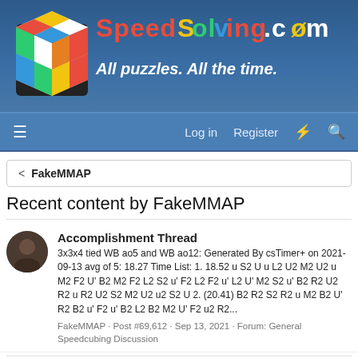[Figure (screenshot): SpeedSolving.com website logo banner with Rubik's cube and site name in colorful pixel font, tagline 'All puzzles. All the time.']
Log in  Register
< FakeMMAP
Recent content by FakeMMAP
Accomplishment Thread
3x3x4 tied WB ao5 and WB ao12: Generated By csTimer+ on 2021-09-13 avg of 5: 18.27 Time List: 1. 18.52 u S2 U u L2 U2 M2 U2 u M2 F2 U' B2 M2 F2 L2 S2 u' F2 L2 F2 u' L2 U' M2 S2 u' B2 R2 U2 R2 u R2 U2 S2 M2 U2 u2 S2 U 2. (20.41) B2 R2 S2 R2 u M2 B2 U' R2 B2 u' F2 u' B2 L2 B2 M2 U' F2 u2 R2...
FakeMMAP · Post #69,612 · Sep 13, 2021 · Forum: General Speedcubing Discussion
Accomplishment Thread